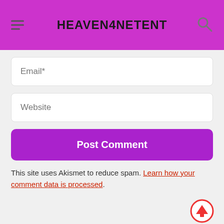HEAVEN4NETENT
Email*
Website
Post Comment
This site uses Akismet to reduce spam. Learn how your comment data is processed.
Visit CasinoEuro